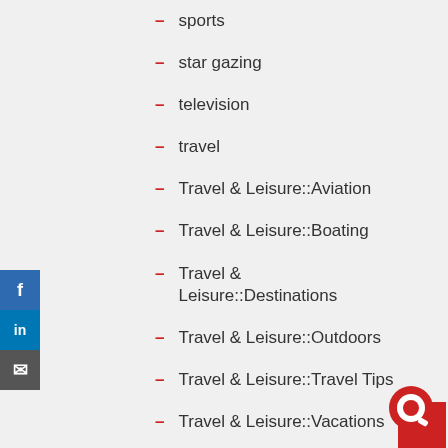sports
star gazing
television
travel
Travel & Leisure::Aviation
Travel & Leisure::Boating
Travel & Leisure::Destinations
Travel & Leisure::Outdoors
Travel & Leisure::Travel Tips
Travel & Leisure::Vacations
Uncategorized